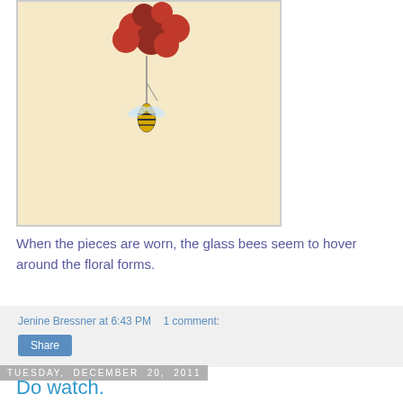[Figure (photo): Photo of a glass bee jewelry piece hovering below clusters of red and dark glass beads against a cream/beige background, with a border frame.]
When the pieces are worn, the glass bees seem to hover around the floral forms.
Jenine Bressner at 6:43 PM   1 comment:
Tuesday, December 20, 2011
Do watch.
[Figure (screenshot): Video thumbnail showing a blue circle with letter W and Korean text with (The Gre... on a dark background with a vertical dots menu icon.]